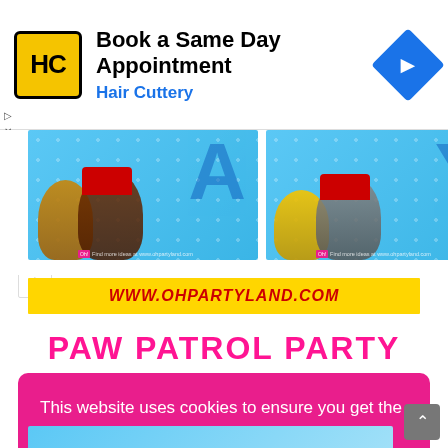[Figure (screenshot): Advertisement banner for Hair Cuttery: 'Book a Same Day Appointment' with HC logo and navigation icon]
[Figure (photo): Paw Patrol characters and letter banner strip from ohpartyland.com]
WWW.OHPARTYLAND.COM
PAW PATROL PARTY
This website uses cookies to ensure you get the best experience on our website.  Learn more
Got it!